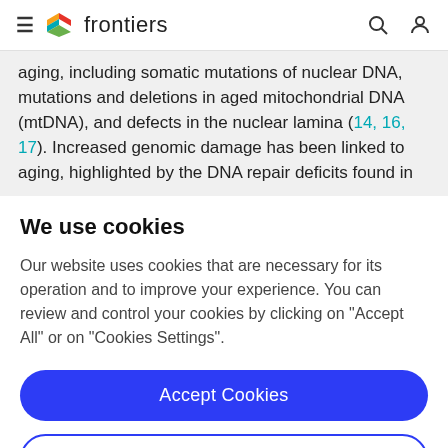frontiers
aging, including somatic mutations of nuclear DNA, mutations and deletions in aged mitochondrial DNA (mtDNA), and defects in the nuclear lamina (14, 16, 17). Increased genomic damage has been linked to aging, highlighted by the DNA repair deficits found in
We use cookies
Our website uses cookies that are necessary for its operation and to improve your experience. You can review and control your cookies by clicking on "Accept All" or on "Cookies Settings".
Accept Cookies
Cookies Settings